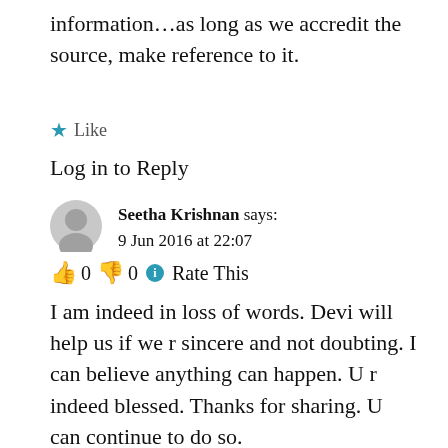information…as long as we accredit the source, make reference to it.
★ Like
Log in to Reply
Seetha Krishnan says:
9 Jun 2016 at 22:07
👍 0 👎 0 ℹ Rate This
I am indeed in loss of words. Devi will help us if we r sincere and not doubting. I can believe anything can happen. U r indeed blessed. Thanks for sharing. U can continue to do so.